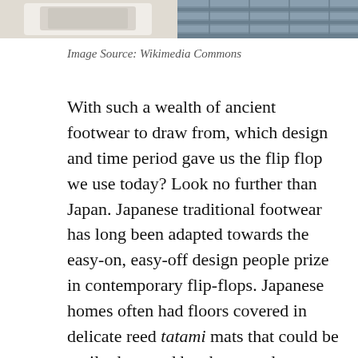[Figure (photo): Two partial photos at top of page: left shows a light-colored object on white background, right shows wooden floor planks or decking]
Image Source: Wikimedia Commons
With such a wealth of ancient footwear to draw from, which design and time period gave us the flip flop we use today?  Look no further than Japan.  Japanese traditional footwear has long been adapted towards the easy-on, easy-off design people prize in contemporary flip-flops.  Japanese homes often had floors covered in delicate reed tatami mats that could be easily damaged by shoes, and so an abundance of flip-flop-like designs emerged, including the geta and the zori.  After WW2, Japan's decimated economy still held a large reserve of rubber from the Southeast Asian nations that